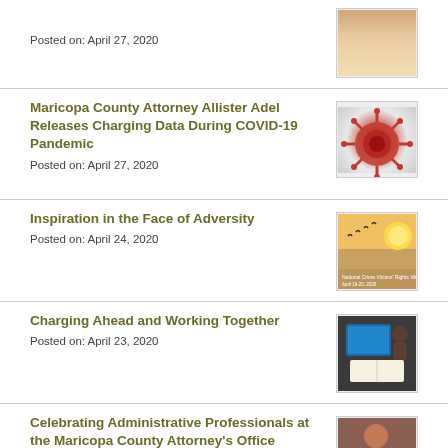Posted on: April 27, 2020
Maricopa County Attorney Allister Adel Releases Charging Data During COVID-19 Pandemic
Posted on: April 27, 2020
[Figure (photo): COVID-19 coronavirus illustration, red and gray spiky sphere]
Inspiration in the Face of Adversity
Posted on: April 24, 2020
[Figure (photo): Sunset with birds flying, National Crime Victims' Rights Week graphic]
Charging Ahead and Working Together
Posted on: April 23, 2020
[Figure (photo): Person with laptop and open book on desk]
Celebrating Administrative Professionals at the Maricopa County Attorney's Office
Posted on: April 22, 2020
[Figure (photo): Person sitting at a desk with a computer]
Dedicated to Serving Victims of Crime: Shawn Cox
[Figure (photo): Mountain landscape photo]